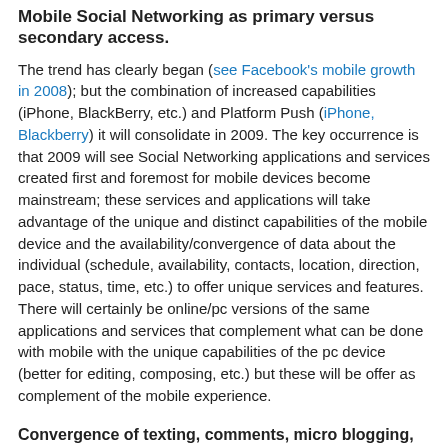Mobile Social Networking as primary versus secondary access.
The trend has clearly began (see Facebook's mobile growth in 2008); but the combination of increased capabilities (iPhone, BlackBerry, etc.) and Platform Push (iPhone, Blackberry) it will consolidate in 2009. The key occurrence is that 2009 will see Social Networking applications and services created first and foremost for mobile devices become mainstream; these services and applications will take advantage of the unique and distinct capabilities of the mobile device and the availability/convergence of data about the individual (schedule, availability, contacts, location, direction, pace, status, time, etc.) to offer unique services and features. There will certainly be online/pc versions of the same applications and services that complement what can be done with mobile with the unique capabilities of the pc device (better for editing, composing, etc.) but these will be offer as complement of the mobile experience.
Convergence of texting, comments, micro blogging, status update platforms: